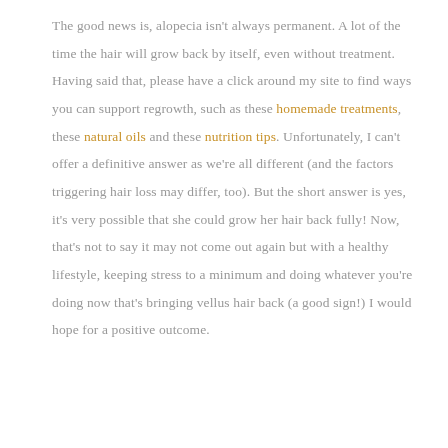The good news is, alopecia isn't always permanent. A lot of the time the hair will grow back by itself, even without treatment. Having said that, please have a click around my site to find ways you can support regrowth, such as these homemade treatments, these natural oils and these nutrition tips. Unfortunately, I can't offer a definitive answer as we're all different (and the factors triggering hair loss may differ, too). But the short answer is yes, it's very possible that she could grow her hair back fully! Now, that's not to say it may not come out again but with a healthy lifestyle, keeping stress to a minimum and doing whatever you're doing now that's bringing vellus hair back (a good sign!) I would hope for a positive outcome.